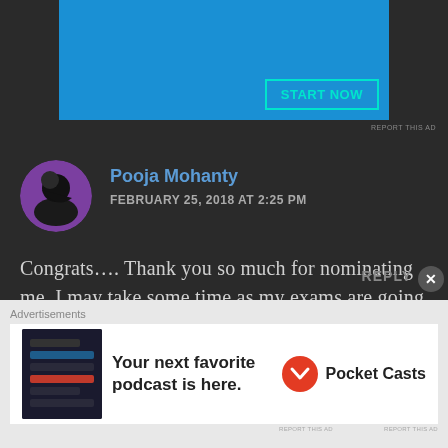[Figure (screenshot): Advertisement banner with blue background showing 'START NOW' button]
REPORT THIS AD
Pooja Mohanty
FEBRUARY 25, 2018 AT 2:25 PM
Congrats.... Thank you so much for nominating me. I may take some time as my exams are going on. But I will post for sure. 🙂
★ Liked by 6 people
REPLY
Advertisements
[Figure (photo): Pocket Casts advertisement: Your next favorite podcast is here. Pocket Casts logo.]